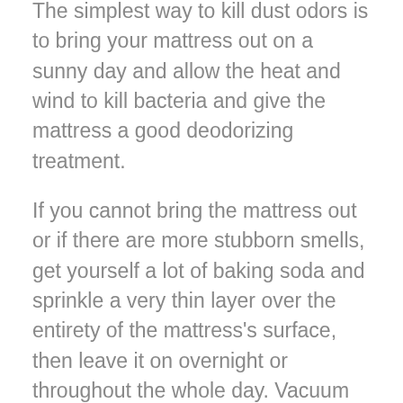The simplest way to kill dust odors is to bring your mattress out on a sunny day and allow the heat and wind to kill bacteria and give the mattress a good deodorizing treatment.
If you cannot bring the mattress out or if there are more stubborn smells, get yourself a lot of baking soda and sprinkle a very thin layer over the entirety of the mattress's surface, then leave it on overnight or throughout the whole day. Vacuum up the powder when it's done.
You can also use a citrus cleaner, but this takes a little extra effort to make. With that being said, a homemade citrus cleaner can be useful to have around the house.
Place orange or lemon peels in an airtight container, pour white vinegar into the container, close it, and leave it for about two weeks. Pour the mixture and...